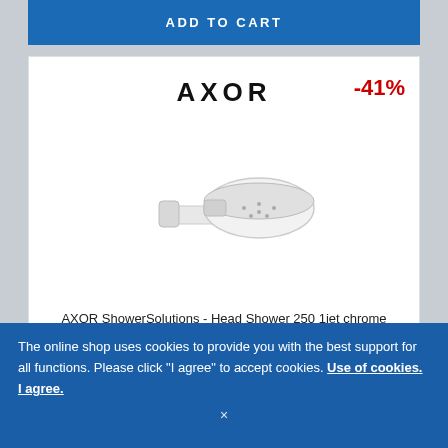[Figure (other): ADD TO CART blue button at top of page]
[Figure (photo): AXOR shower head product image - white overhead shower with wall mount arm, chrome finish]
AXOR ShowerSolutions - Head Shower 250 1jet chrome
The online shop uses cookies to provide you with the best support for all functions. Please click "I agree" to accept cookies. Use of cookies. I agree.